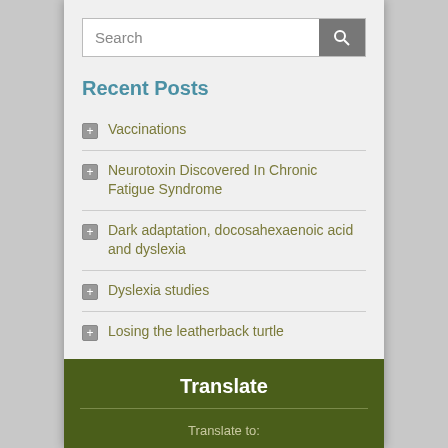[Figure (screenshot): Search bar with text input field and dark grey search button with magnifying glass icon]
Recent Posts
Vaccinations
Neurotoxin Discovered In Chronic Fatigue Syndrome
Dark adaptation, docosahexaenoic acid and dyslexia
Dyslexia studies
Losing the leatherback turtle
Translate
Translate to: